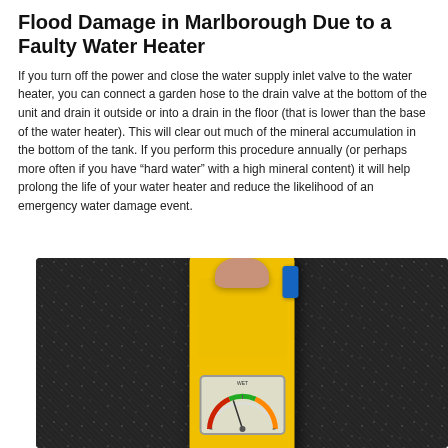Flood Damage in Marlborough Due to a Faulty Water Heater
If you turn off the power and close the water supply inlet valve to the water heater, you can connect a garden hose to the drain valve at the bottom of the unit and drain it outside or into a drain in the floor (that is lower than the base of the water heater). This will clear out much of the mineral accumulation in the bottom of the tank. If you perform this procedure annually (or perhaps more often if you have “hard water” with a high mineral content) it will help prolong the life of your water heater and reduce the likelihood of an emergency water damage event.
[Figure (photo): A yellow moisture meter device held by a finger, placed on dark grey carpet. The meter has a gauge/dial display window near the bottom and a blue button on the side.]